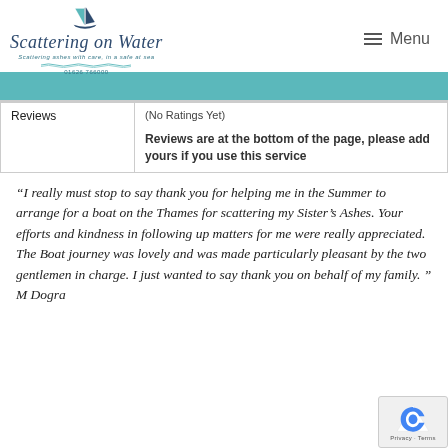[Figure (logo): Scattering on Water logo with sailboat illustration, italic script text, subtitle and phone number, with wavy lines decoration]
| Reviews |  |
| --- | --- |
| Reviews | (No Ratings Yet)

Reviews are at the bottom of the page, please add yours if you use this service |
“I really must stop to say thank you for helping me in the Summer to arrange for a boat on the Thames for scattering my Sister’s Ashes. Your efforts and kindness in following up matters for me were really appreciated. The Boat journey was lovely and was made particularly pleasant by the two gentlemen in charge. I just wanted to say thank you on behalf of my family. ” M Dogra